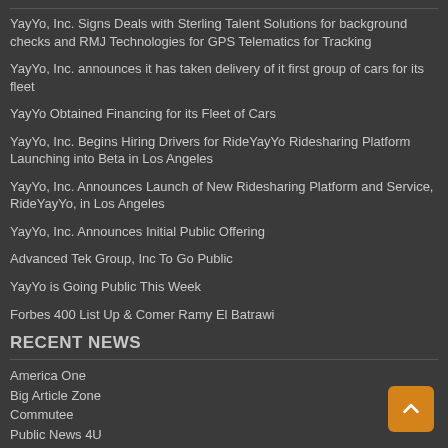YayYo, Inc. Signs Deals with Sterling Talent Solutions for background checks and RMJ Technologies for GPS Telematics for Tracking
YayYo, Inc. announces it has taken delivery of it first group of cars for its fleet
YayYo Obtained Financing for its Fleet of Cars
YayYo, Inc. Begins Hiring Drivers for RideYayYo Ridesharing Platform Launching into Beta in Los Angeles
YayYo, Inc. Announces Launch of New Ridesharing Platform and Service, RideYayYo, in Los Angeles
YayYo, Inc. Announces Initial Public Offering
Advanced Tek Group, Inc To Go Public
YayYo is Going Public This Week
Forbes 400 List Up & Comer Ramy El Batrawi
RECENT NEWS
America One
Big Article Zone
Commutee
Public News 4U
Quality Tech News